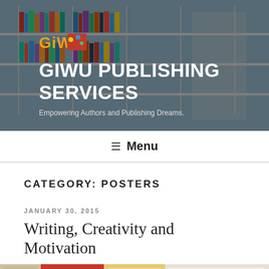[Figure (photo): Library bookshelf scene with a person browsing books, used as a hero banner background image with colorful books on white shelves]
GIWU PUBLISHING SERVICES
Empowering Authors and Publishing Dreams.
≡ Menu
CATEGORY: POSTERS
JANUARY 30, 2015
Writing, Creativity and Motivation
[Figure (photo): Strip of poster images showing colorful creative writing posters and books]